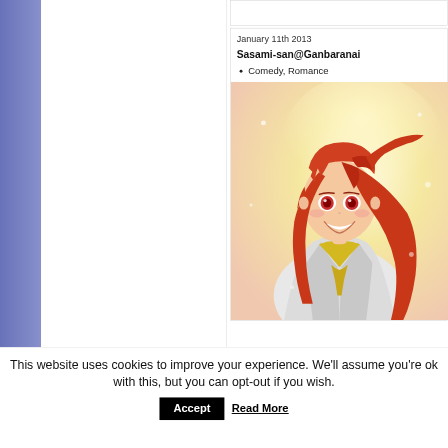[Figure (illustration): Purple/blue sidebar on left side of webpage]
January 11th 2013
Sasami-san@Ganbaranai
Comedy, Romance
[Figure (illustration): Anime character with long red/orange hair, wearing a white jacket and yellow scarf, smiling, on a bright yellow/white background]
This website uses cookies to improve your experience. We'll assume you're ok with this, but you can opt-out if you wish.
Accept
Read More